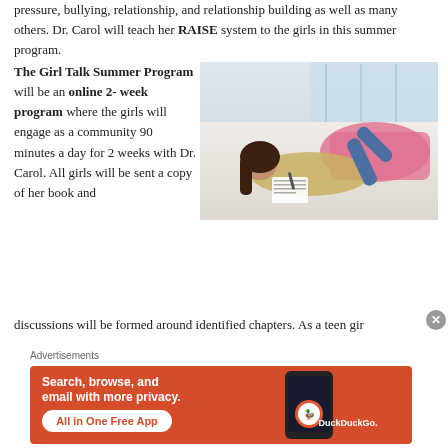pressure, bullying, relationship, and relationship building as well as many others. Dr. Carol will teach her RAISE system to the girls in this summer program.
The Girl Talk Summer Program will be an online 2- week program where the girls will engage as a community 90 minutes a day for 2 weeks with Dr. Carol. All girls will be sent a copy of her book and discussions will be formed around identified chapters. As a teen gir
[Figure (photo): A teenage girl lying on a bed writing in a notebook, with pink pillows in the background and a window letting in natural light.]
Advertisements
[Figure (screenshot): DuckDuckGo advertisement banner: 'Search, browse, and email with more privacy. All in One Free App' with a phone showing the DuckDuckGo logo.]